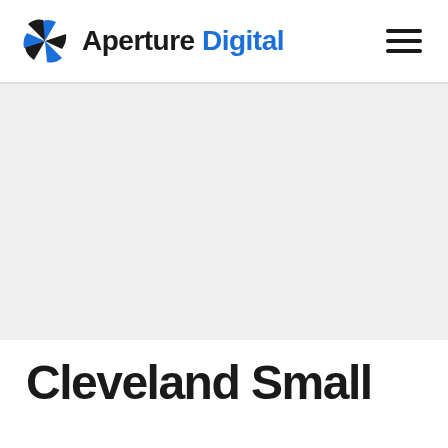Aperture Digital
[Figure (photo): Large light gray rectangular image placeholder area]
Cleveland Small